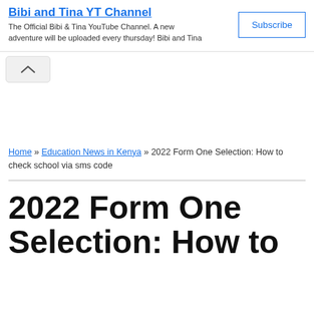Bibi and Tina YT Channel
The Official Bibi & Tina YouTube Channel. A new adventure will be uploaded every thursday! Bibi and Tina
[Figure (screenshot): Collapse/chevron up button UI element]
Home » Education News in Kenya » 2022 Form One Selection: How to check school via sms code
2022 Form One Selection: How to